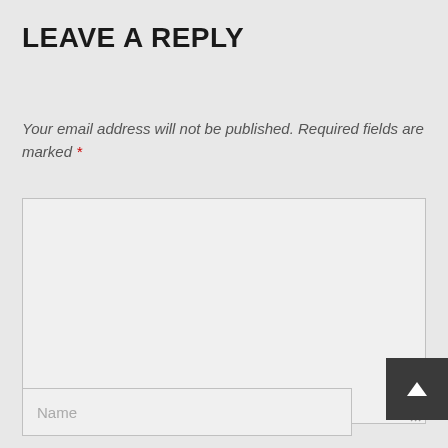LEAVE A REPLY
Your email address will not be published. Required fields are marked *
[Figure (other): Large comment text area input box (empty), with a resize handle at bottom-right corner]
[Figure (other): Name text input field (empty, placeholder: Name)]
[Figure (other): Scroll-to-top button (dark gray square with white upward arrow chevron), positioned at bottom right]